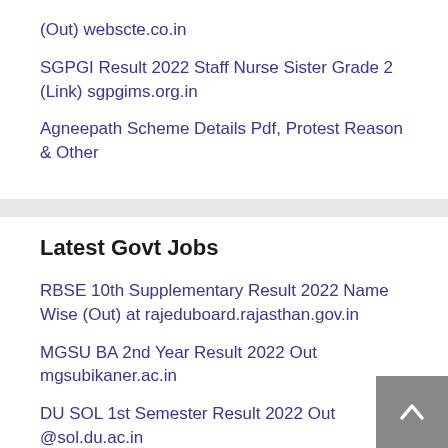(Out) webscte.co.in
SGPGI Result 2022 Staff Nurse Sister Grade 2 (Link) sgpgims.org.in
Agneepath Scheme Details Pdf, Protest Reason & Other
Latest Govt Jobs
RBSE 10th Supplementary Result 2022 Name Wise (Out) at rajeduboard.rajasthan.gov.in
MGSU BA 2nd Year Result 2022 Out mgsubikaner.ac.in
DU SOL 1st Semester Result 2022 Out @sol.du.ac.in
OU Degree 6th Sem Results 2022 Manabadi Link at